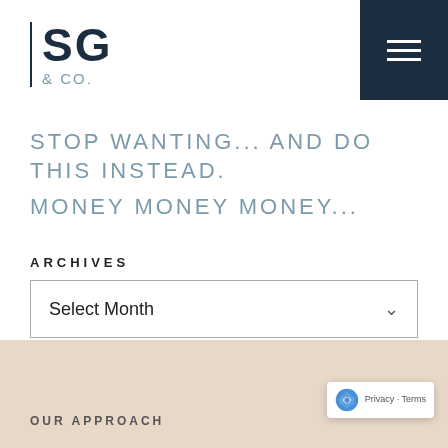[Figure (logo): SG & Co. logo with dark navy letters and teal/grey accent color, left border line]
[Figure (other): Dark navy hamburger menu button in top right corner]
STOP WANTING... AND DO THIS INSTEAD.
MONEY MONEY MONEY...
ARCHIVES
Select Month
[Figure (other): Shopping cart icon with pink badge showing 0]
OUR APPROACH
[Figure (other): reCAPTCHA badge with Privacy and Terms links]